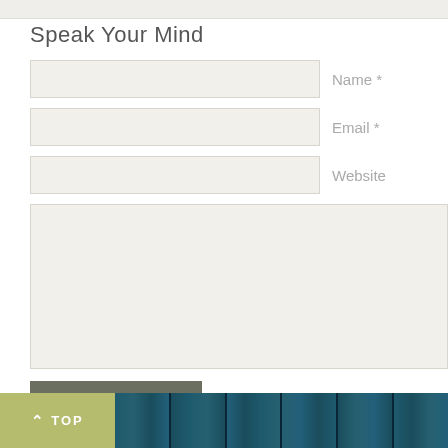Speak Your Mind
[Figure (screenshot): Web comment form with Name, Email, Website input fields, a large textarea, and a POST COMMENT button]
[Figure (other): TOP button (olive/yellow-green background) with upward arrow, and a decorative wooden plank footer bar]